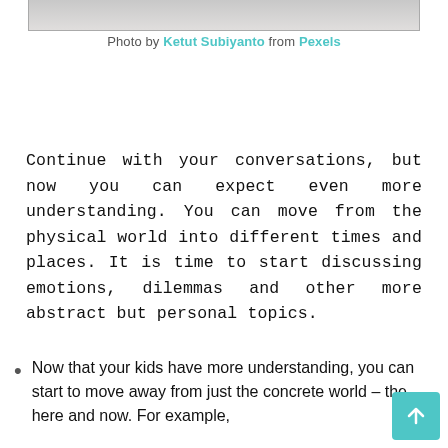[Figure (photo): Bottom edge of a photo showing light-colored bedding or fabric, cropped at the top of the page]
Photo by Ketut Subiyanto from Pexels
Continue with your conversations, but now you can expect even more understanding. You can move from the physical world into different times and places. It is time to start discussing emotions, dilemmas and other more abstract but personal topics.
Now that your kids have more understanding, you can start to move away from just the concrete world – the here and now. For example,